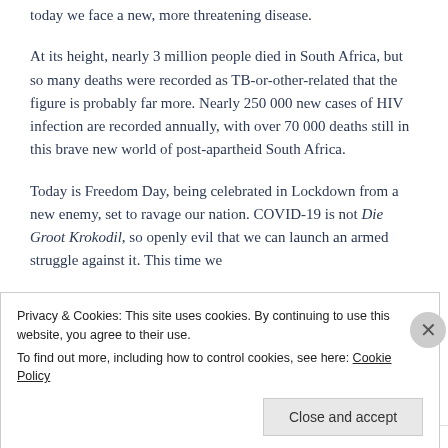today we face a new, more threatening disease.
At its height, nearly 3 million people died in South Africa, but so many deaths were recorded as TB-or-other-related that the figure is probably far more. Nearly 250 000 new cases of HIV infection are recorded annually, with over 70 000 deaths still in this brave new world of post-apartheid South Africa.
Today is Freedom Day, being celebrated in Lockdown from a new enemy, set to ravage our nation. COVID-19 is not Die Groot Krokodil, so openly evil that we can launch an armed struggle against it. This time we
Privacy & Cookies: This site uses cookies. By continuing to use this website, you agree to their use.
To find out more, including how to control cookies, see here: Cookie Policy
Close and accept